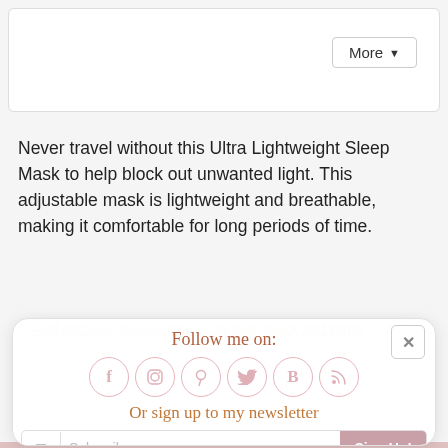[Figure (screenshot): Top white card/box UI element with a More dropdown button in the top right corner]
Never travel without this Ultra Lightweight Sleep Mask to help block out unwanted light. This adjustable mask is lightweight and breathable, making it comfortable for long periods of time.
[Figure (screenshot): Social media follow popup overlay card with title 'Follow me on:', social icons (Facebook, Instagram, Pinterest, Twitter, Bloglovin, RSS), newsletter signup section 'Or sign up to my newsletter' with Subscribe email input and Sign Up! button and close X button]